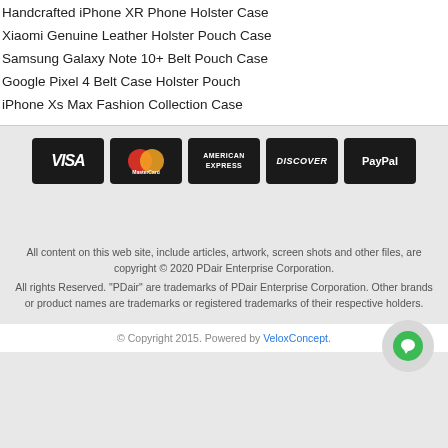Handcrafted iPhone XR Phone Holster Case
Xiaomi Genuine Leather Holster Pouch Case
Samsung Galaxy Note 10+ Belt Pouch Case
Google Pixel 4 Belt Case Holster Pouch
iPhone Xs Max Fashion Collection Case
[Figure (logo): Payment method logos: Visa, MasterCard, American Express, Discover, PayPal — white text on black rounded rectangle badges]
All content on this web site, include articles, artwork, screen shots and other files, are copyright © 2020 PDair Enterprise Corporation. All rights Reserved. "PDair" are trademarks of PDair Enterprise Corporation. Other brands or product names are trademarks or registered trademarks of their respective holders.
© Copyright 2015. Powered by VeloxConcept.